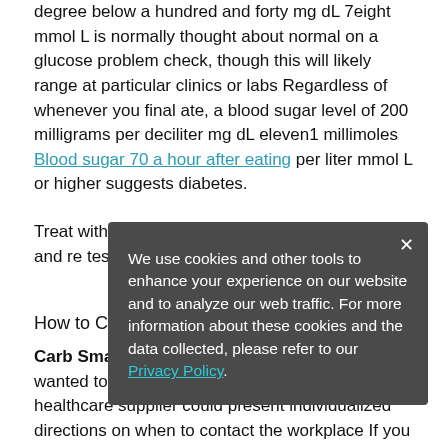degree below a hundred and forty mg dL 7eight mmol L is normally thought about normal on a glucose problem check, though this will likely range at particular clinics or labs Regardless of whenever you final ate, a blood sugar level of 200 milligrams per deciliter mg dL eleven1 millimoles Blood sugar 70 a hour after eating per liter mmol L or higher suggests diabetes.
Treat with 15 grams of rapid acting carbohydrate and re test in 15 minutes Repeat remedy as .
How to Control Your Blood Sugar Level
Carb Smart Ice Cream And Blood Sugar wanted to deliver blood sugar within range Your healthcare supplier could present individualized directions on when to contact the workplace If you ve two or more unexpected blood sugars over 250 mg dL, notify your healthcare provider for
We use cookies and other tools to enhance your experience on our website and to analyze our web traffic. For more information about these cookies and the data collected, please refer to our Privacy Policy.